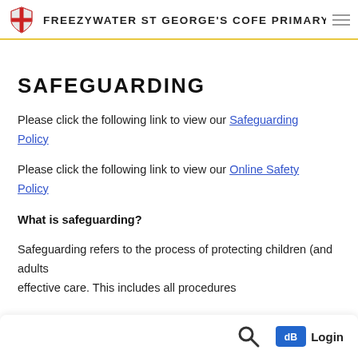FREEZYWATER ST GEORGE'S COFE PRIMARY SCHOOL
SAFEGUARDING
Please click the following link to view our Safeguarding Policy
Please click the following link to view our Online Safety Policy
What is safeguarding?
Safeguarding refers to the process of protecting children (and adults effective care. This includes all procedures